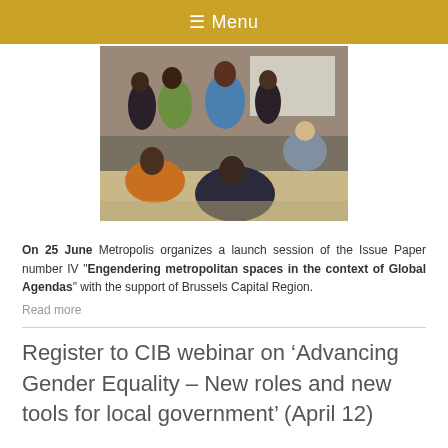☰ Menu
[Figure (photo): Group of women in a room, some standing and presenting, others seated on the floor in a workshop or meeting setting.]
On 25 June Metropolis organizes a launch session of the Issue Paper number IV "Engendering metropolitan spaces in the context of Global Agendas" with the support of Brussels Capital Region.
Read more
Register to CIB webinar on ‘Advancing Gender Equality – New roles and new tools for local government’ (April 12)